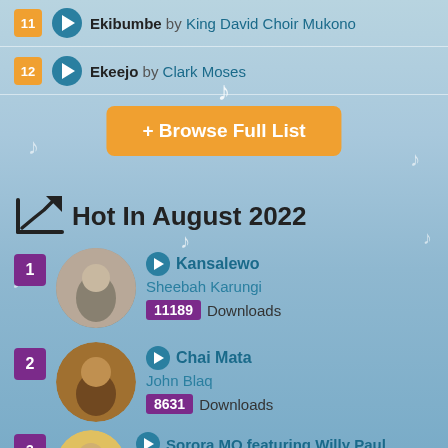11 Ekibumbe by King David Choir Mukono
12 Ekeejo by Clark Moses
+ Browse Full List
Hot In August 2022
1 Kansalewo Sheebah Karungi 11189 Downloads
2 Chai Mata John Blaq 8631 Downloads
3 Sorora MQ featuring Willy Paul